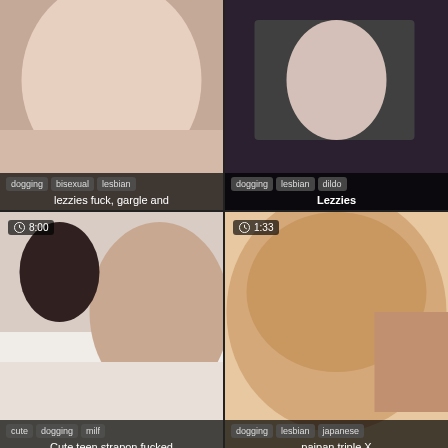[Figure (screenshot): Video thumbnail grid showing adult content thumbnails with tags and titles]
dogging  bisexual  lesbian
lezzies fuck, gargle and
dogging  lesbian  dildo
Lezzies
8:00
cute  dogging  milf
Cute teen strapon fucked
1:33
dogging  lesbian  japanese
paipan triple X
12:19
8:00